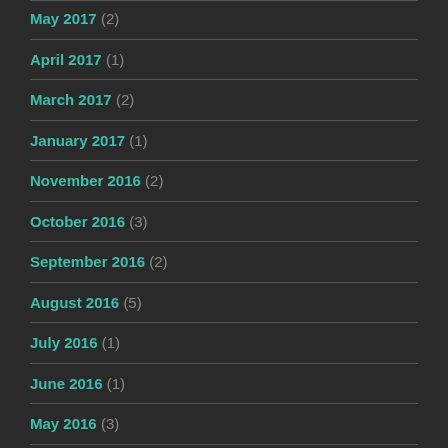May 2017 (2)
April 2017 (1)
March 2017 (2)
January 2017 (1)
November 2016 (2)
October 2016 (3)
September 2016 (2)
August 2016 (5)
July 2016 (1)
June 2016 (1)
May 2016 (3)